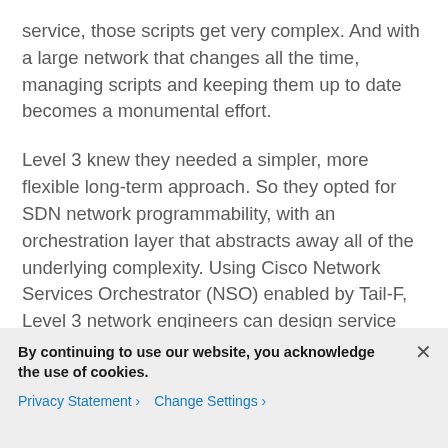service, those scripts get very complex. And with a large network that changes all the time, managing scripts and keeping them up to date becomes a monumental effort.
Level 3 knew they needed a simpler, more flexible long-term approach. So they opted for SDN network programmability, with an orchestration layer that abstracts away all of the underlying complexity. Using Cisco Network Services Orchestrator (NSO) enabled by Tail-F, Level 3 network engineers can design service offerings once, describing both high-level services and myriad underlying networking
By continuing to use our website, you acknowledge the use of cookies.
Privacy Statement > Change Settings >